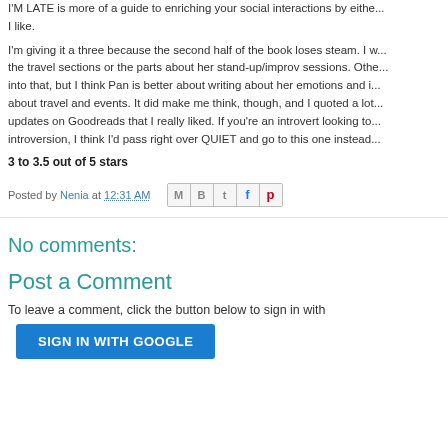I'M LATE is more of a guide to enriching your social interactions by either... I like.
I'm giving it a three because the second half of the book loses steam. I w... the travel sections or the parts about her stand-up/improv sessions. Othe... into that, but I think Pan is better about writing about her emotions and i... about travel and events. It did make me think, though, and I quoted a lot... updates on Goodreads that I really liked. If you're an introvert looking to... introversion, I think I'd pass right over QUIET and go to this one instead.
3 to 3.5 out of 5 stars
Posted by Nenia at 12:31 AM
No comments:
Post a Comment
To leave a comment, click the button below to sign in with
SIGN IN WITH GOOGLE